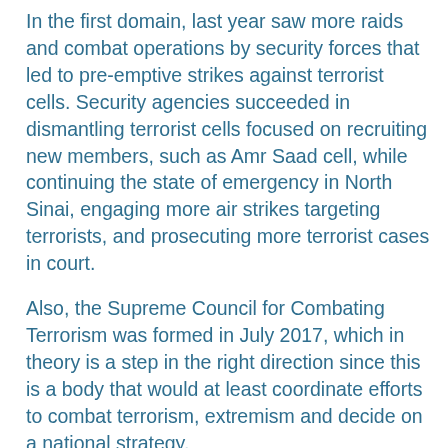In the first domain, last year saw more raids and combat operations by security forces that led to pre-emptive strikes against terrorist cells. Security agencies succeeded in dismantling terrorist cells focused on recruiting new members, such as Amr Saad cell, while continuing the state of emergency in North Sinai, engaging more air strikes targeting terrorists, and prosecuting more terrorist cases in court.
Also, the Supreme Council for Combating Terrorism was formed in July 2017, which in theory is a step in the right direction since this is a body that would at least coordinate efforts to combat terrorism, extremism and decide on a national strategy.
In the second domain, the government continued to pay monetary compensation to victims on a case-by-case basis.
For example, after the attack on Al-Rawda Mosque in Beir Abd, President Abdel-Fattah Al-Sisi ordered payment of